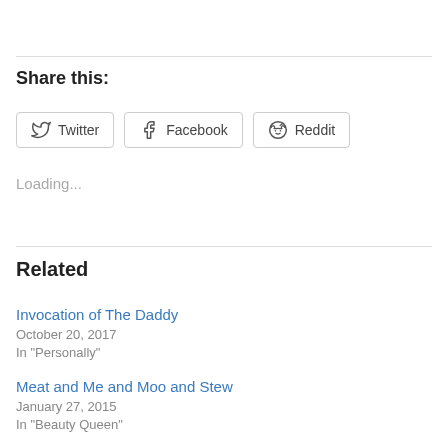Share this:
Twitter   Facebook   Reddit
Loading...
Related
Invocation of The Daddy
October 20, 2017
In "Personally"
Meat and Me and Moo and Stew
January 27, 2015
In "Beauty Queen"